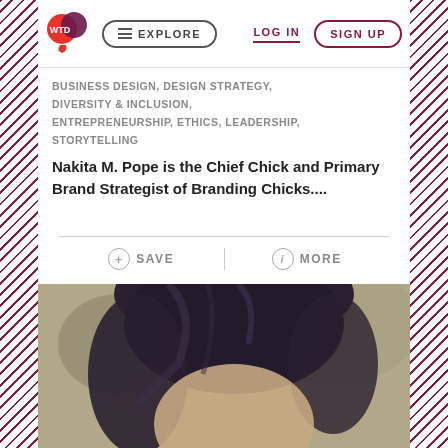WTD | EXPLORE | LOG IN | SIGN UP
BUSINESS DESIGN, DESIGN STRATEGY, DIVERSITY & INCLUSION, ENTREPRENEURSHIP, ETHICS, LEADERSHIP, STORYTELLING
Nakita M. Pope is the Chief Chick and Primary Brand Strategist of Branding Chicks....
+ SAVE   (i) MORE
[Figure (photo): Close-up portrait photo of a person with dark hair against a blurred outdoor background]